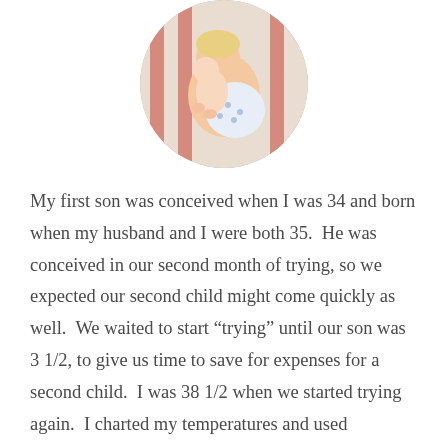[Figure (photo): Circular cropped photo of a young child holding and nuzzling a newborn baby, both sitting in what appears to be a striped chair or crib setting.]
My first son was conceived when I was 34 and born when my husband and I were both 35.  He was conceived in our second month of trying, so we expected our second child might come quickly as well.  We waited to start “trying” until our son was 3 1/2, to give us time to save for expenses for a second child.  I was 38 1/2 when we started trying again.  I charted my temperatures and used ovulation sticks from the beginning.  I saw nothing unusual to me, as far as what I had